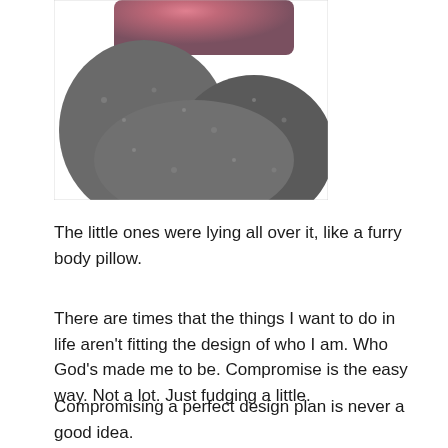[Figure (photo): Close-up photo of what appears to be gray furry/fluffy fabric or stuffed animal with a glimpse of pink fabric at the top.]
The little ones were lying all over it, like a furry body pillow.
There are times that the things I want to do in life aren't fitting the design of who I am. Who God's made me to be. Compromise is the easy way. Not a lot. Just fudging a little.
Compromising a perfect design plan is never a good idea.
And yet, God always surprises me with the